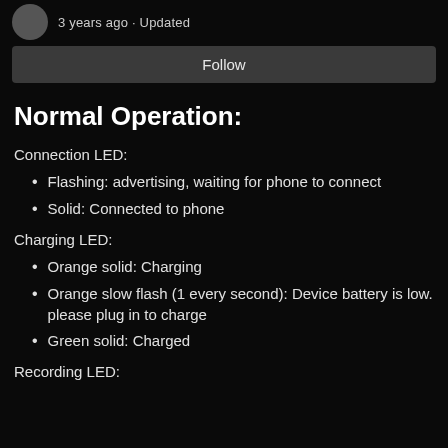3 years ago · Updated
Follow
Normal Operation:
Connection LED:
Flashing: advertising, waiting for phone to connect
Solid: Connected to phone
Charging LED:
Orange solid: Charging
Orange slow flash (1 every second): Device battery is low. please plug in to charge
Green solid: Charged
Recording LED: